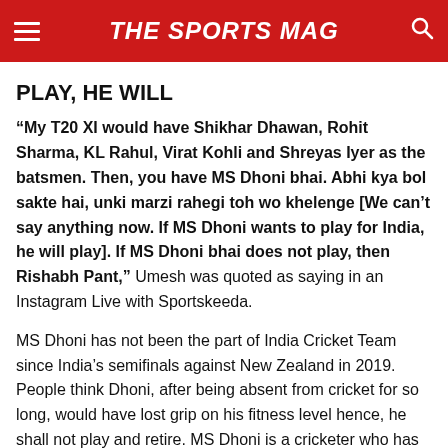THE SPORTS MAG
PLAY, HE WILL
“My T20 XI would have Shikhar Dhawan, Rohit Sharma, KL Rahul, Virat Kohli and Shreyas Iyer as the batsmen. Then, you have MS Dhoni bhai. Abhi kya bol sakte hai, unki marzi rahegi toh wo khelenge [We can’t say anything now. If MS Dhoni wants to play for India, he will play]. If MS Dhoni bhai does not play, then Rishabh Pant,” Umesh was quoted as saying in an Instagram Live with Sportskeeda.
MS Dhoni has not been the part of India Cricket Team since India’s semifinals against New Zealand in 2019. People think Dhoni, after being absent from cricket for so long, would have lost grip on his fitness level hence, he shall not play and retire. MS Dhoni is a cricketer who has served India with dignity and deserves a heartwrenching goodbye.